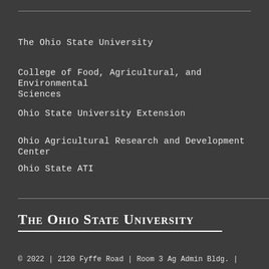The Ohio State University
College of Food, Agricultural, and Environmental Sciences
Ohio State University Extension
Ohio Agricultural Research and Development Center
Ohio State ATI
The Ohio State University
© 2022 | 2120 Fyffe Road | Room 3 Ag Admin Bldg. |